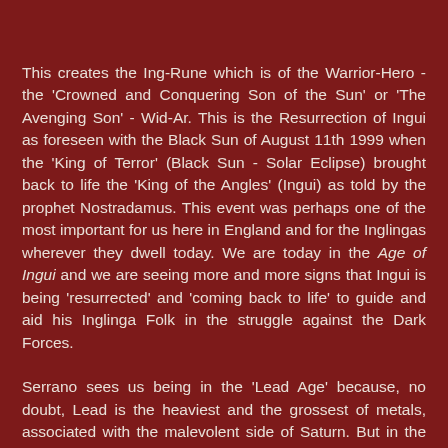This creates the Ing-Rune which is of the Warrior-Hero - the 'Crowned and Conquering Son of the Sun' or 'The Avenging Son' - Wid-Ar. This is the Resurrection of Ingui as foreseen with the Black Sun of August 11th 1999 when the 'King of Terror' (Black Sun - Solar Eclipse) brought back to life the 'King of the Angles' (Ingui) as told by the prophet Nostradamus. This event was perhaps one of the most important for us here in England and for the Inglingas wherever they dwell today. We are today in the Age of Ingui and we are seeing more and more signs that Ingui is being 'resurrected' and 'coming back to life' to guide and aid his Inglinga Folk in the struggle against the Dark Forces.
Serrano sees us being in the 'Lead Age' because, no doubt, Lead is the heaviest and the grossest of metals, associated with the malevolent side of Saturn. But in the Royal Arts of Alchemy Lead is closest to Gold, and thus we can see that even within the Lead Age there is a hint of Gold, and the coming Golden Age. This is symbolic of the Great Plan...